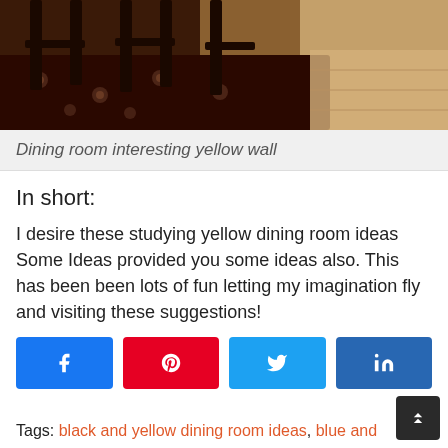[Figure (photo): Photo of dining room chairs on a dark floral rug with wooden floor visible]
Dining room interesting yellow wall
In short:
I desire these studying yellow dining room ideas Some Ideas provided you some ideas also. This has been been lots of fun letting my imagination fly and visiting these suggestions!
[Figure (other): Social share buttons: Facebook, Pinterest, Twitter, LinkedIn]
Tags: black and yellow dining room ideas, blue and